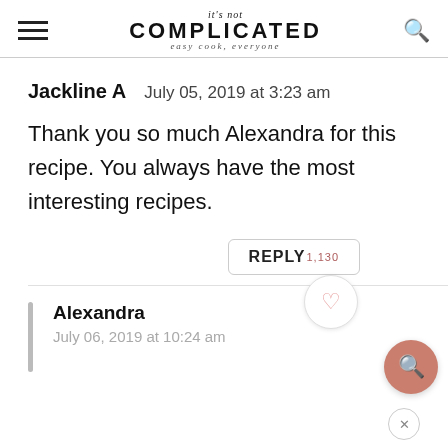it's not COMPLICATED · easy cook, everyone
Jackline A   July 05, 2019 at 3:23 am
Thank you so much Alexandra for this recipe. You always have the most interesting recipes.
REPLY 1,130
Alexandra
July 06, 2019 at 10:24 am